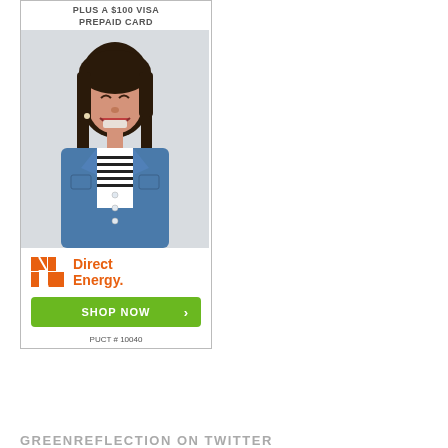[Figure (illustration): Advertisement for Direct Energy featuring a young smiling woman in a denim jacket with text 'PLUS A $100 VISA PREPAID CARD', Direct Energy logo, green 'SHOP NOW' button, and PUCT # 10040]
GREENREFLECTION ON TWITTER